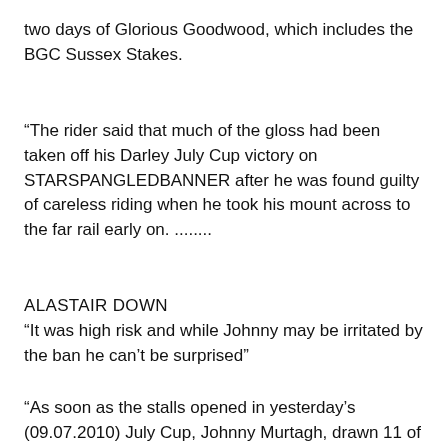two days of Glorious Goodwood, which includes the BGC Sussex Stakes.
“The rider said that much of the gloss had been taken off his Darley July Cup victory on STARSPANGLEDBANNER after he was found guilty of careless riding when he took his mount across to the far rail early on. ........
ALASTAIR DOWN
“It was high risk and while Johnny may be irritated by the ban he can’t be surprised”
“As soon as the stalls opened in yesterday’s (09.07.2010) July Cup, Johnny Murtagh, drawn 11 of 14, set sale for the far rail and it was a race clinching manoeuvre that thoroughly brassed off the stewards, who handed the winning jockey a six day ban for careless riding. The head – on camera view clearly showed that STARSPANGLEDBANNER carried